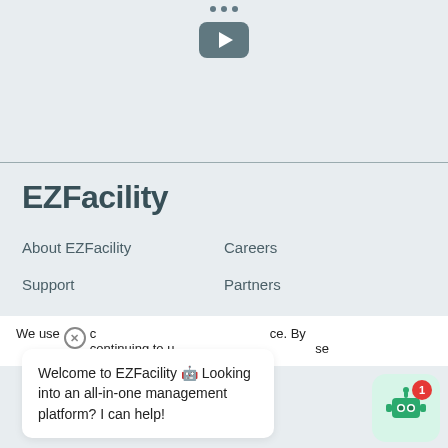[Figure (other): YouTube play button icon on light blue-grey background]
EZFacility
About EZFacility
Careers
Support
Partners
Contact Us
Hardware Store
We use cookies to enhance your experience. By continuing to use our site, you agree to their use.
Welcome to EZFacility 🤖 Looking into an all-in-one management platform? I can help!